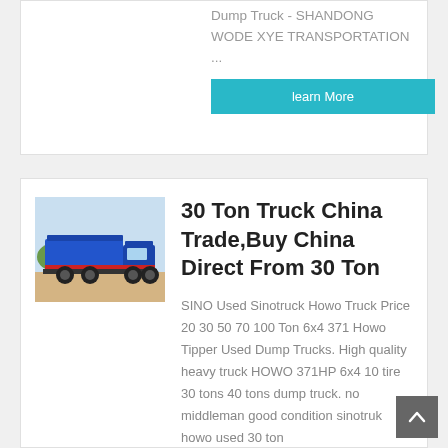Dump Truck - SHANDONG WODE XYE TRANSPORTATION ...
learn More
[Figure (photo): Blue dump truck (Sinotruck Howo) parked on dirt/sand, side view, blue cab and blue dump bed, trees in background]
30 Ton Truck China Trade,Buy China Direct From 30 Ton
SINO Used Sinotruck Howo Truck Price 20 30 50 70 100 Ton 6x4 371 Howo Tipper Used Dump Trucks. High quality heavy truck HOWO 371HP 6x4 10 tire 30 tons 40 tons dump truck. no middleman good condition sinotruk howo used 30 ton